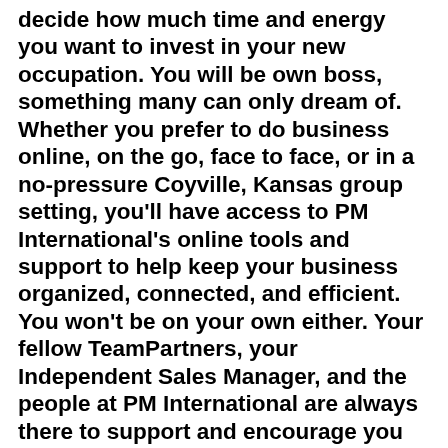Regardless of timing, it can fit on you decide how much time and energy you want to invest in your new occupation. You will be own boss, something many can only dream of. Whether you prefer to do business online, on the go, face to face, or in a no-pressure Coyville, Kansas group setting, you'll have access to PM International's online tools and support to help keep your business organized, connected, and efficient. You won't be on your own either. Your fellow TeamPartners, your Independent Sales Manager, and the people at PM International are always there to support and encourage you on your journey. The first step to starting your own Coyville PM International business is registering and getting your TeamPartner Kit. Go to http://6311859.pm-quickstart.com to get started today! Need more information? Please watch the video included with this post. This isn't for you? No Problem! Please do me a